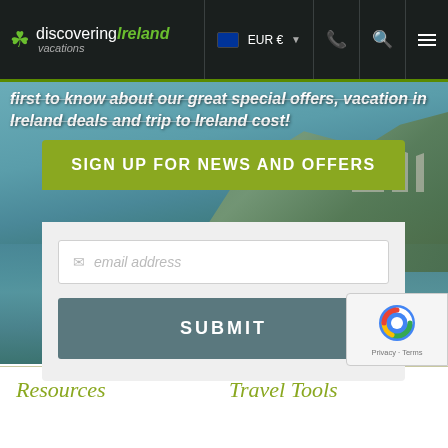discovering Ireland vacations — EUR € navigation bar
first to know about our great special offers, vacation in Ireland deals and trip to Ireland cost!
SIGN UP FOR NEWS AND OFFERS
email address (input field placeholder)
SUBMIT
[Figure (photo): Scenic Irish harbor waterfront with green hillside, buildings, and calm blue water with a red buoy]
[Figure (logo): reCAPTCHA widget with logo and Privacy - Terms links]
Resources
Travel Tools